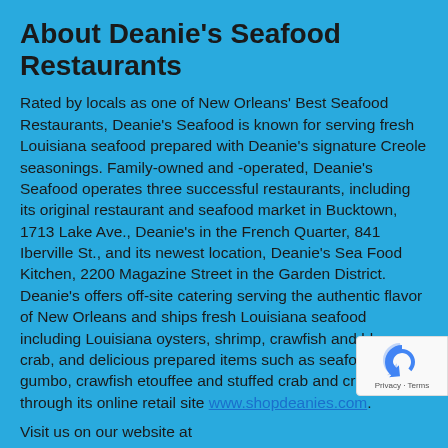About Deanie's Seafood Restaurants
Rated by locals as one of New Orleans' Best Seafood Restaurants, Deanie's Seafood is known for serving fresh Louisiana seafood prepared with Deanie's signature Creole seasonings. Family-owned and -operated, Deanie's Seafood operates three successful restaurants, including its original restaurant and seafood market in Bucktown, 1713 Lake Ave., Deanie's in the French Quarter, 841 Iberville St., and its newest location, Deanie's Sea Food Kitchen, 2200 Magazine Street in the Garden District. Deanie's offers off-site catering serving the authentic flavor of New Orleans and ships fresh Louisiana seafood including Louisiana oysters, shrimp, crawfish and blue crab, and delicious prepared items such as seafood gumbo, crawfish etouffee and stuffed crab and crawfish through its online retail site www.shopdeanies.com.
Visit us on our website at